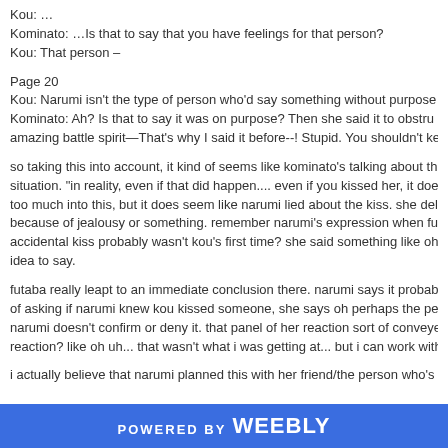Kou: …
Kominato: …Is that to say that you have feelings for that person?
Kou: That person –
Page 20
Kou: Narumi isn't the type of person who'd say something without purpose
Kominato: Ah? Is that to say it was on purpose? Then she said it to obstru amazing battle spirit—That's why I said it before--! Stupid. You shouldn't ke
so taking this into account, it kind of seems like kominato's talking about the situation. "in reality, even if that did happen.... even if you kissed her, it doe too much into this, but it does seem like narumi lied about the kiss. she del because of jealousy or something. remember narumi's expression when fu accidental kiss probably wasn't kou's first time? she said something like oh idea to say.
futaba really leapt to an immediate conclusion there. narumi says it probab of asking if narumi knew kou kissed someone, she says oh perhaps the pe narumi doesn't confirm or deny it. that panel of her reaction sort of conveye reaction? like oh uh... that wasn't what i was getting at... but i can work with
i actually believe that narumi planned this with her friend/the person who's
POWERED BY weebly